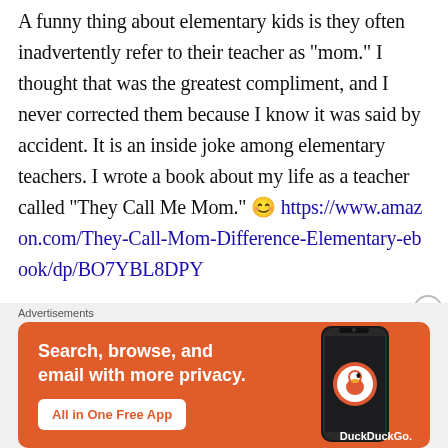A funny thing about elementary kids is they often inadvertently refer to their teacher as “mom.” I thought that was the greatest compliment, and I never corrected them because I know it was said by accident. It is an inside joke among elementary teachers. I wrote a book about my life as a teacher called “They Call Me Mom.” 😊 https://www.amazon.com/They-Call-Mom-Difference-Elementary-ebook/dp/BO7YBL8DPY
[Figure (other): Close/dismiss button - circle with X symbol]
Advertisements
[Figure (infographic): DuckDuckGo advertisement banner on orange background. Text: 'Search, browse, and email with more privacy. All in One Free App'. Shows a smartphone with DuckDuckGo logo and branding.]